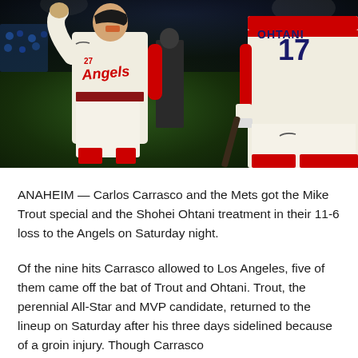[Figure (photo): Two Los Angeles Angels baseball players. On the left, Mike Trout (#27) in a cream Angels uniform with red lettering, raising his arm. On the right, Shohei Ohtani (#17) in cream uniform with red accents, holding a bat. Dark stadium background.]
ANAHEIM — Carlos Carrasco and the Mets got the Mike Trout special and the Shohei Ohtani treatment in their 11-6 loss to the Angels on Saturday night.
Of the nine hits Carrasco allowed to Los Angeles, five of them came off the bat of Trout and Ohtani. Trout, the perennial All-Star and MVP candidate, returned to the lineup on Saturday after his three days sidelined because of a groin injury. Though Carrasco